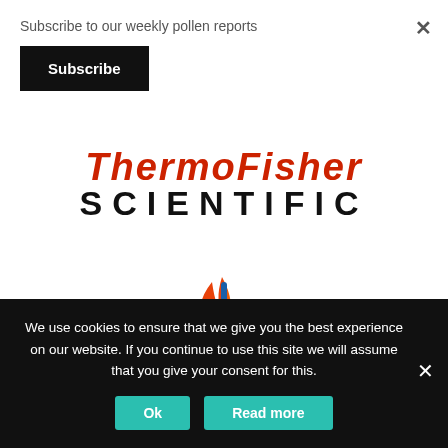Subscribe to our weekly pollen reports
Subscribe
[Figure (logo): ThermoFisher Scientific logo — red italic 'ThermoFisher' on top, bold black 'SCIENTIFIC' below in spaced capitals]
[Figure (logo): Novartis logo — flame/torch icon in orange, red and blue above bold blue 'NOVARTIS' text in spaced capitals]
We use cookies to ensure that we give you the best experience on our website. If you continue to use this site we will assume that you give your consent for this.
Ok
Read more